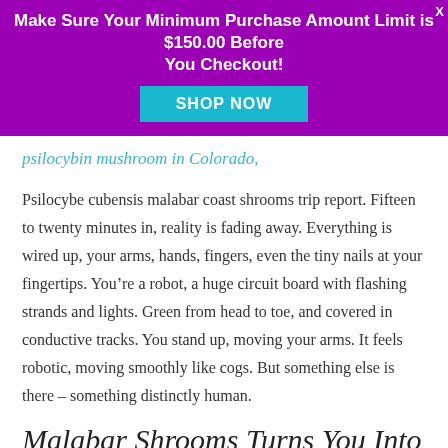Make Sure Your Minimum Purchase Amount Limit is $150.00 Before You Checkout!
psilocybin mushroom in Colorado,
Psilocybe cubensis malabar coast shrooms trip report. Fifteen to twenty minutes in, reality is fading away. Everything is wired up, your arms, hands, fingers, even the tiny nails at your fingertips. You’re a robot, a huge circuit board with flashing strands and lights. Green from head to toe, and covered in conductive tracks. You stand up, moving your arms. It feels robotic, moving smoothly like cogs. But something else is there – something distinctly human.
Malabar Shrooms Turns You Into A